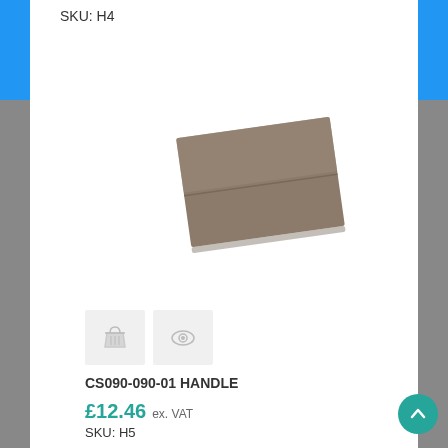SKU: H4
[Figure (photo): Product photo of CS090-090-01 HANDLE — a flat rectangular brownish-grey handle plate photographed at a slight angle]
[Figure (other): Two action icon buttons: a shopping basket icon and an eye/view icon, both in light grey square buttons]
CS090-090-01 HANDLE
£12.46 ex. VAT
SKU: H5